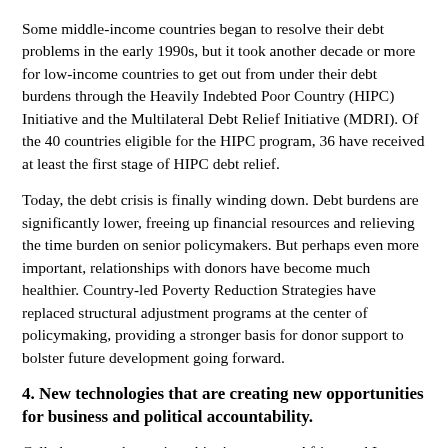Some middle-income countries began to resolve their debt problems in the early 1990s, but it took another decade or more for low-income countries to get out from under their debt burdens through the Heavily Indebted Poor Country (HIPC) Initiative and the Multilateral Debt Relief Initiative (MDRI). Of the 40 countries eligible for the HIPC program, 36 have received at least the first stage of HIPC debt relief.
Today, the debt crisis is finally winding down. Debt burdens are significantly lower, freeing up financial resources and relieving the time burden on senior policymakers. But perhaps even more important, relationships with donors have become much healthier. Country-led Poverty Reduction Strategies have replaced structural adjustment programs at the center of policymaking, providing a stronger basis for donor support to bolster future development going forward.
4. New technologies that are creating new opportunities for business and political accountability.
Cell phones are becoming ubiquitous across Africa, and Internet access is growing quickly. In the most remote corners of the countryside, cell phones are relaying information on prices and shipments of goods in real time and facilitating the transfer of